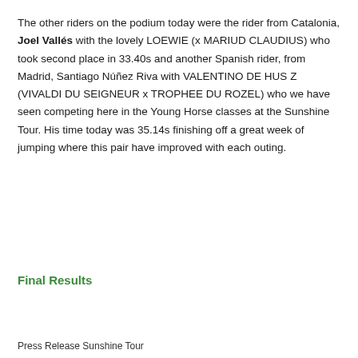The other riders on the podium today were the rider from Catalonia, Joel Vallés with the lovely LOEWIE (x MARIUD CLAUDIUS) who took second place in 33.40s and another Spanish rider, from Madrid, Santiago Núñez Riva with VALENTINO DE HUS Z (VIVALDI DU SEIGNEUR x TROPHEE DU ROZEL) who we have seen competing here in the Young Horse classes at the Sunshine Tour. His time today was 35.14s finishing off a great week of jumping where this pair have improved with each outing.
Final Results
Press Release Sunshine Tour